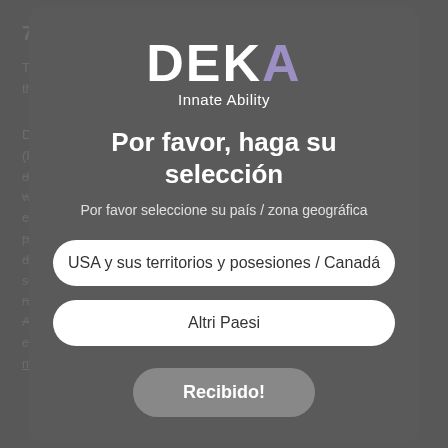7. Data retention
The Data Controller, in accordance with the principles of informative process,
DEKA M.E.L.A.S. r.l., domiciliata en (50041) Calenzano (Fi), Vía delle Piaggione 80/F, es la responsabilidad, datos de los datos obtenidos a través del sitio web www.dekainnateability.com, cookies técnicas y cookies de perfiles. Para obtener más información o para denegar el consentimiento de uno a la instalación de cookies de ningún tipo, para aceptar solo las de navegación, incluso al tercer truco, clique el botón Aceptar, consulte la cookie política. El truco de cookies por parte del Controlador de datos. Acprede más
nature and sensitivity of the Personal
[Figure (screenshot): Modal dialog overlay on a legal document page showing DEKA Innate Ability logo, a selection prompt in Spanish 'Por favor, haga su selección', subtitle 'Por favor seleccione su país / zona geográfica', two buttons: 'USA y sus territorios y posesiones / Canadá' and 'Altri Paesi', and a 'Recibido!' button below.]